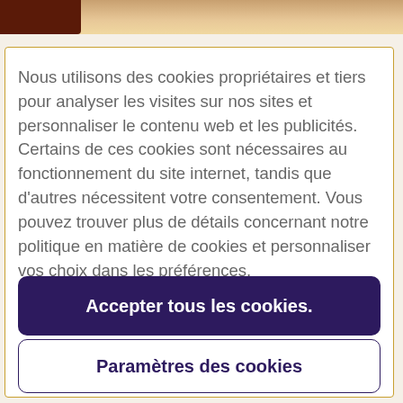[Figure (photo): Top portion of a webpage showing a partial image strip with dark reddish-brown and tan tones at the top of the page, with faint text partially visible behind the cookie consent dialog]
Nous utilisons des cookies propriétaires et tiers pour analyser les visites sur nos sites et personnaliser le contenu web et les publicités. Certains de ces cookies sont nécessaires au fonctionnement du site internet, tandis que d'autres nécessitent votre consentement. Vous pouvez trouver plus de détails concernant notre politique en matière de cookies et personnaliser vos choix dans les préférences.
Accepter tous les cookies.
Paramètres des cookies